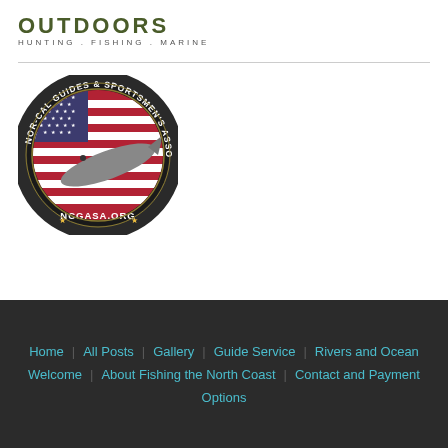[Figure (logo): Outdoors brand logo with text OUTDOORS and tagline HUNTING . FISHING . MARINE in olive/dark green color]
[Figure (logo): Nor-Cal Guides & Sportsmen's Association circular badge logo with American flag and fish imagery, text NCGASA.ORG at bottom]
Home  All Posts  Gallery  Guide Service  Rivers and Ocean  Welcome  About Fishing the North Coast  Contact and Payment Options